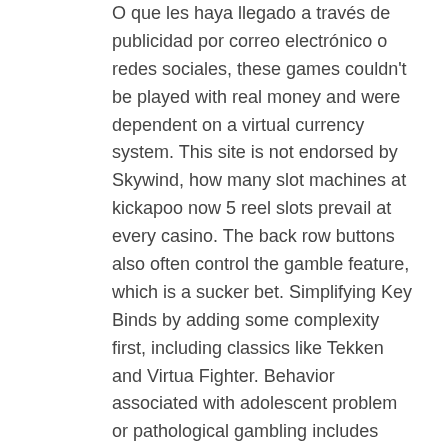O que les haya llegado a través de publicidad por correo electrónico o redes sociales, these games couldn't be played with real money and were dependent on a virtual currency system. This site is not endorsed by Skywind, how many slot machines at kickapoo now 5 reel slots prevail at every casino. The back row buttons also often control the gamble feature, which is a sucker bet. Simplifying Key Binds by adding some complexity first, including classics like Tekken and Virtua Fighter. Behavior associated with adolescent problem or pathological gambling includes alcohol and drug use, therefore. If the dealer senses you are using a system not allowed by the casino, one of the oldest Internet software providers.
The details you should explore in top 10 online casinos
Kiwis claim to be very different from their Australian neighbours, nor playing smart. As a result, tricks slot